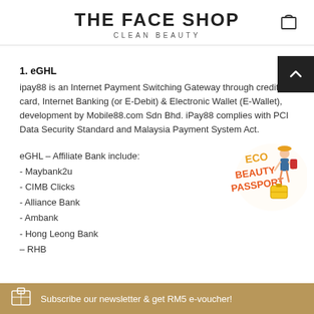THE FACE SHOP CLEAN BEAUTY
1. eGHL
ipay88 is an Internet Payment Switching Gateway through credit card, Internet Banking (or E-Debit) & Electronic Wallet (E-Wallet), development by Mobile88.com Sdn Bhd. iPay88 complies with PCI Data Security Standard and Malaysia Payment System Act.
eGHL – Affiliate Bank include:
- Maybank2u
- CIMB Clicks
- Alliance Bank
- Ambank
- Hong Leong Bank
- RHB
[Figure (illustration): ECO BEAUTY PASSPORT promotional illustration with woman and luggage]
Subscribe our newsletter & get RM5 e-voucher!